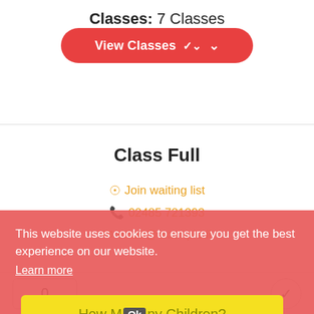Classes: 7 Classes
[Figure (screenshot): Red rounded button labeled 'View Classes' with a chevron down icon]
Class Full
⊙ Join waiting list
📞 02485 721393
This website uses cookies to ensure you get the best experience on our website.
Learn more
How Many Children?
0